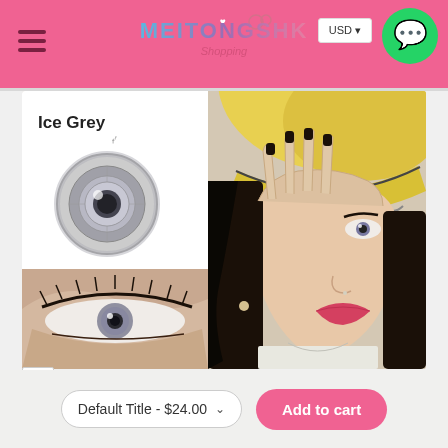[Figure (screenshot): Pink website header with hamburger menu icon on left, MEITONGSHK Shopping logo in center, USD currency selector and WhatsApp green circle button on right]
[Figure (photo): Product listing image for Ice Grey contact lenses. Left panel on white background shows lens name 'Ice Grey', a circular grey contact lens illustration, specs DIA:14.2mm and Water contents:38%, and close-up eye photo inset at bottom. Right panel shows model wearing yellow cap with hand partially covering face, wearing the grey contact lenses.]
Default Title - $24.00
Add to cart